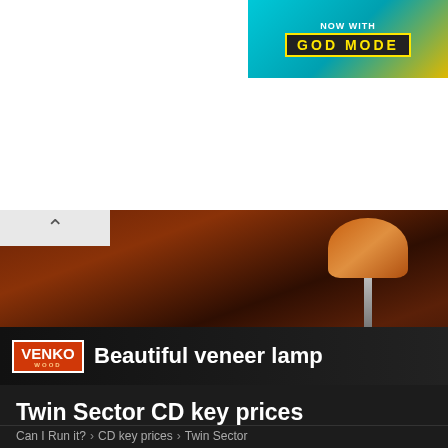[Figure (screenshot): Advertisement banner: 'NOW WITH GOD MODE' on cyan/yellow background]
[Figure (photo): Venko Wood advertisement showing a beautiful veneer lamp on dark wooden background with VENKO WOOD logo badge and text 'Beautiful veneer lamp']
Twin Sector CD key prices
Can I Run it? › CD key prices › Twin Sector
[Figure (screenshot): Twin Sector game artwork showing the Twin Sector logo (red/blue text with hand symbol) and a dark-haired female character]